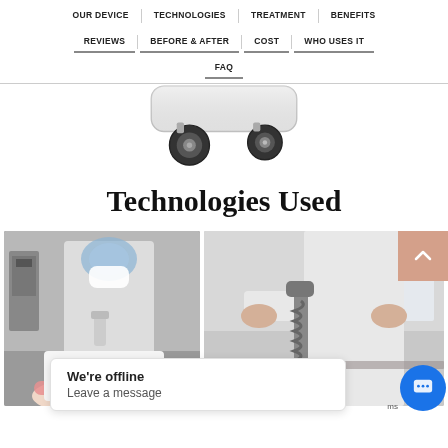OUR DEVICE | TECHNOLOGIES | TREATMENT | BENEFITS | REVIEWS | BEFORE & AFTER | COST | WHO USES IT | FAQ
[Figure (photo): Bottom of a medical/aesthetic device showing two black caster wheels on a white base unit]
Technologies Used
[Figure (photo): Medical professional in white lab coat, face shield and mask performing a facial treatment on a patient]
[Figure (photo): Close-up of a medical professional's hands operating a device applicator/handle]
We're offline
Leave a message